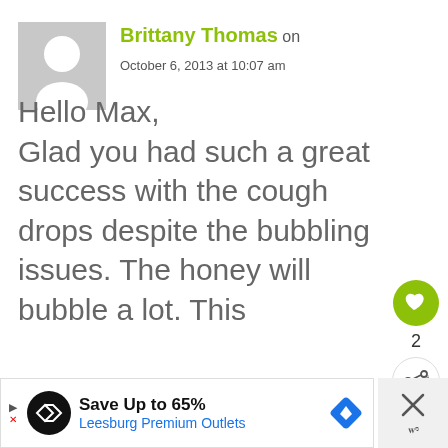[Figure (illustration): Grey placeholder avatar silhouette of a person on a light grey square background]
Brittany Thomas on
October 6, 2013 at 10:07 am
Hello Max,
Glad you had such a great success with the cough drops despite the bubbling issues. The honey will bubble a lot. This
[Figure (illustration): Green circular like/heart button with heart icon and count of 2, and a share button]
[Figure (illustration): Advertisement banner: Save Up to 65% Leesburg Premium Outlets with close button]